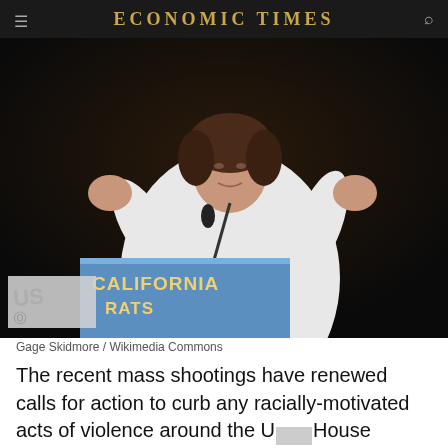ECONOMIC TIMES
[Figure (photo): A woman in a white outfit speaking at a podium labeled CALIFORNIA RATS/DRATS, with a microphone, gesturing with both hands raised, against a dark background. Photo credit: Gage Skidmore / Wikimedia Commons]
Gage Skidmore / Wikimedia Commons
The recent mass shootings have renewed calls for action to curb any racially-motivated acts of violence around the U.S. House Democrats are planning to bring the domestic terrorism bill for a vote this week.